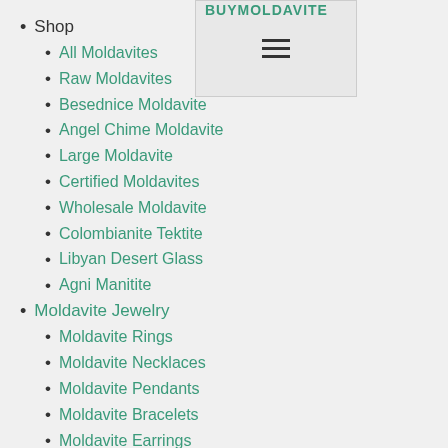Shop
All Moldavites
Raw Moldavites
Besednice Moldavite
Angel Chime Moldavite
Large Moldavite
Certified Moldavites
Wholesale Moldavite
Colombianite Tektite
Libyan Desert Glass
Agni Manitite
Moldavite Jewelry
Moldavite Rings
Moldavite Necklaces
Moldavite Pendants
Moldavite Bracelets
Moldavite Earrings
Faceted Moldavite